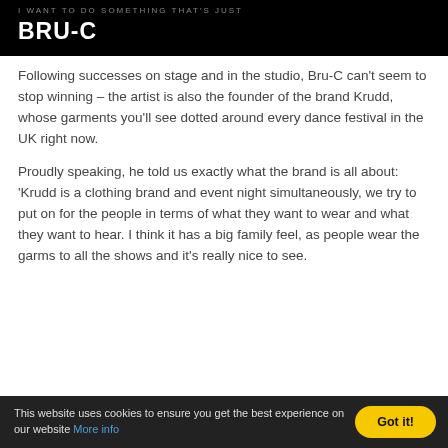BRU-C
Following successes on stage and in the studio, Bru-C can't seem to stop winning – the artist is also the founder of the brand Krudd, whose garments you'll see dotted around every dance festival in the UK right now.
Proudly speaking, he told us exactly what the brand is all about: 'Krudd is a clothing brand and event night simultaneously, we try to put on for the people in terms of what they want to wear and what they want to hear. I think it has a big family feel, as people wear the garms to all the shows and it's really nice to see.
This website uses cookies to ensure you get the best experience on our website More info  Got it!